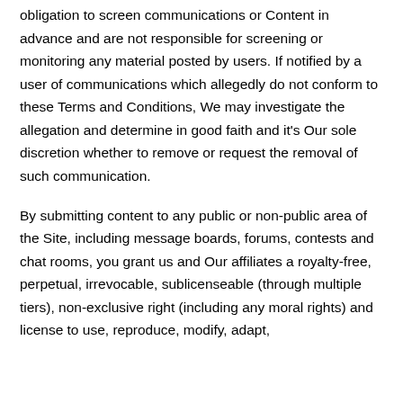obligation to screen communications or Content in advance and are not responsible for screening or monitoring any material posted by users. If notified by a user of communications which allegedly do not conform to these Terms and Conditions, We may investigate the allegation and determine in good faith and it's Our sole discretion whether to remove or request the removal of such communication.
By submitting content to any public or non-public area of the Site, including message boards, forums, contests and chat rooms, you grant us and Our affiliates a royalty-free, perpetual, irrevocable, sublicenseable (through multiple tiers), non-exclusive right (including any moral rights) and license to use, reproduce, modify, adapt,